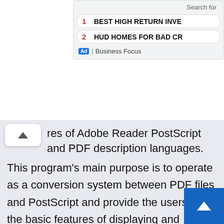[Figure (screenshot): Ad overlay in top-right showing 'Search for' label with two ad items: 1 BEST HIGH RETURN INVE... and 2 HUD HOMES FOR BAD CR..., with Business Focus badge]
res of Adobe Reader PostScript and PDF description languages.
This program's main purpose is to operate as a conversion system between PDF files and PostScript and provide the users with the basic features of displaying and printing the PDF document pages. It is the best application for the developer as by using it; they can come to know about how to work with a virtual printer. The leading edge of using GhostScript is that it comes with the GNU development and lic... system, which means no limitation to use this print...